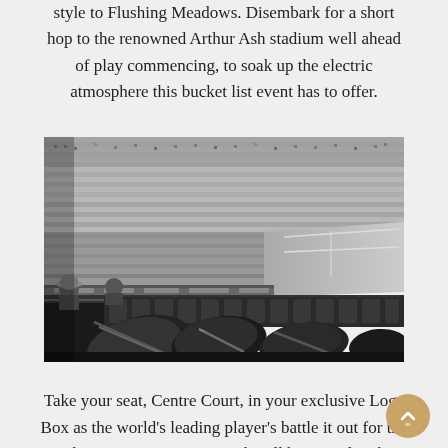style to Flushing Meadows. Disembark for a short hop to the renowned Arthur Ash stadium well ahead of play commencing, to soak up the electric atmosphere this bucket list event has to offer.
[Figure (photo): Black and white photograph of Arthur Ashe Stadium interior showing rows of courtside Loge Box seats with tennis racket bags in the foreground and packed crowd stands in the background, court visible on the right.]
Take your seat, Centre Court, in your exclusive Loge Box as the world's leading player's battle it out for the richest prize in tennis. Lunch will be served at the famous Aces Restaurant offering the very best in